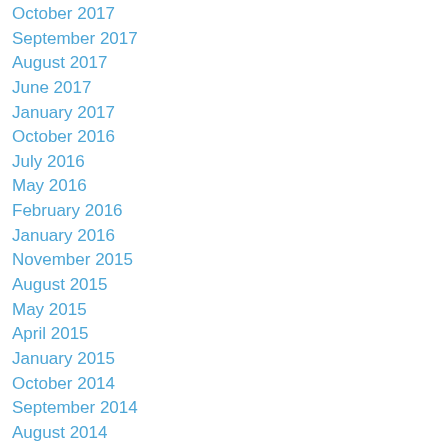October 2017
September 2017
August 2017
June 2017
January 2017
October 2016
July 2016
May 2016
February 2016
January 2016
November 2015
August 2015
May 2015
April 2015
January 2015
October 2014
September 2014
August 2014
July 2014
May 2014
April 2014